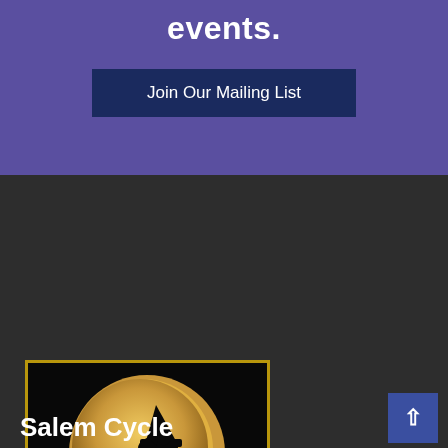events.
Join Our Mailing List
[Figure (logo): Salem Cycle logo: black background with a large golden/yellow moon, a witch silhouette riding a bicycle across the moon, with golden text 'Salem Cycle' below, surrounded by a gold border.]
Salem Cycle